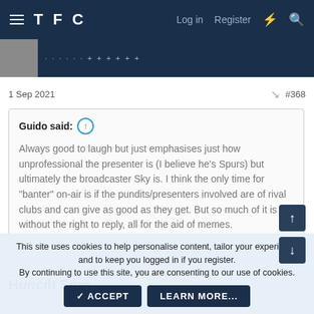TFC — Log in  Register
1 Sep 2021  #368
Guido said: ↑

Always good to laugh but just emphasises just how unprofessional the presenter is (I believe he's Spurs) but ultimately the broadcaster Sky is. I think the only time for "banter" on-air is if the pundits/presenters involved are of rival clubs and can give as good as they get. But so much of it is without the right to reply, all for the aid of memes.

Click to expand...
This site uses cookies to help personalise content, tailor your experience and to keep you logged in if you register.
By continuing to use this site, you are consenting to our use of cookies.